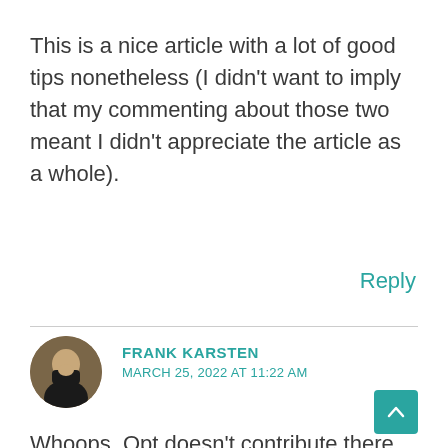This is a nice article with a lot of good tips nonetheless (I didn't want to imply that my commenting about those two meant I didn't appreciate the article as a whole).
Reply
FRANK KARSTEN
MARCH 25, 2022 AT 11:22 AM
Whoops, Opt doesn't contribute there. You're right. Thinking back, I recalled a